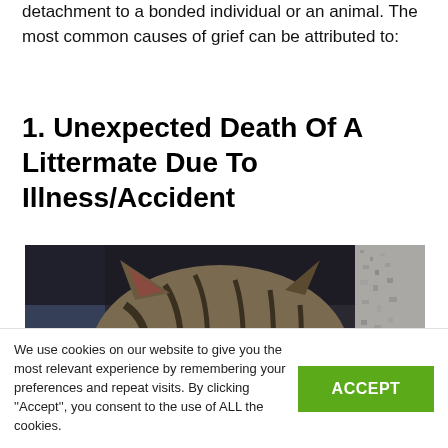detachment to a bonded individual or an animal. The most common causes of grief can be attributed to:
1. Unexpected Death Of A Littermate Due To Illness/Accident
[Figure (photo): Close-up photo of a tabby cat with bright yellow-green eyes peeking over an edge, dark background with mottled texture on the right side.]
We use cookies on our website to give you the most relevant experience by remembering your preferences and repeat visits. By clicking "Accept", you consent to the use of ALL the cookies.